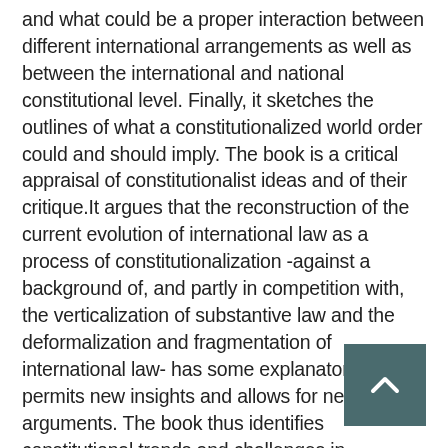and what could be a proper interaction between different international arrangements as well as between the international and national constitutional level. Finally, it sketches the outlines of what a constitutionalized world order could and should imply. The book is a critical appraisal of constitutionalist ideas and of their critique.It argues that the reconstruction of the current evolution of international law as a process of constitutionalization -against a background of, and partly in competition with, the verticalization of substantive law and the deformalization and fragmentation of international law- has some explanatory power, permits new insights and allows for new arguments. The book thus identifies constitutional trends and challenges in establishing international organisational structures, and designs procedures for standard-setting, implementation and judicial functions.